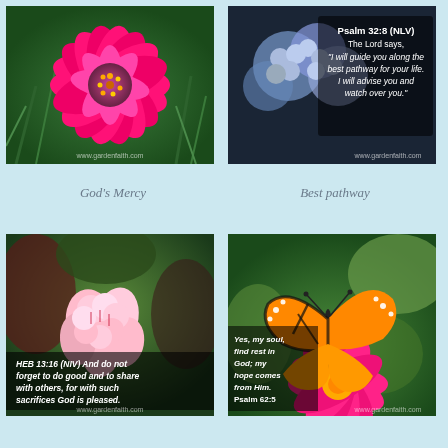[Figure (photo): Pink zinnia flower close-up with green grass background, garden faith website watermark]
[Figure (photo): Blue hydrangea flowers with scripture text overlay: Psalm 32:8 (NLV) The Lord says, 'I will guide you along the best pathway for your life. I will advise you and watch over you.']
God's Mercy
Best pathway
[Figure (photo): Pink and white geranium flowers with HEB 13:16 (NIV) scripture overlay: And do not forget to do good and to share with others, for with such sacrifices God is pleased.]
[Figure (photo): Monarch butterfly on pink zinnia flower with scripture overlay: Yes, my soul, find rest in God; my hope comes from Him. Psalm 62:5]